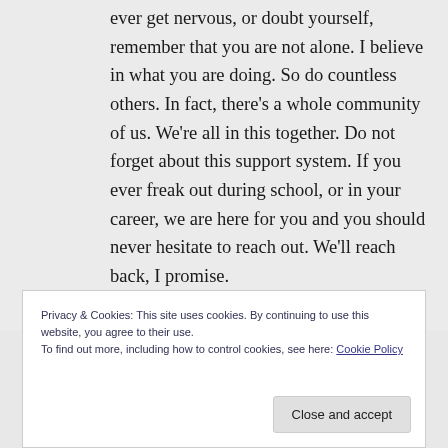ever get nervous, or doubt yourself, remember that you are not alone. I believe in what you are doing. So do countless others. In fact, there's a whole community of us. We're all in this together. Do not forget about this support system. If you ever freak out during school, or in your career, we are here for you and you should never hesitate to reach out. We'll reach back, I promise.
Privacy & Cookies: This site uses cookies. By continuing to use this website, you agree to their use. To find out more, including how to control cookies, see here: Cookie Policy